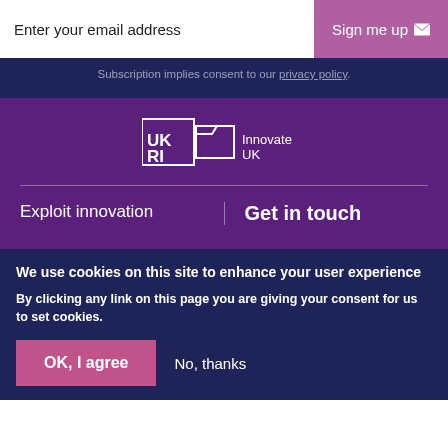Enter your email address
Sign me up
Subscription implies consent to our privacy policy.
[Figure (logo): UKRI Innovate UK logo in white on purple background]
Exploit innovation
Get in touch
We use cookies on this site to enhance your user experience
By clicking any link on this page you are giving your consent for us to set cookies.
OK, I agree
No, thanks